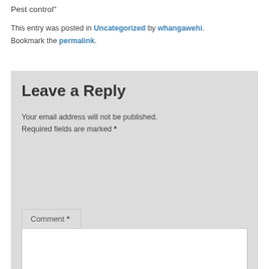Pest control"
This entry was posted in Uncategorized by whangawehi. Bookmark the permalink.
Leave a Reply
Your email address will not be published. Required fields are marked *